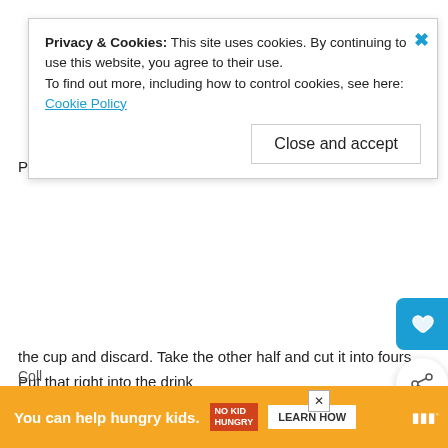Privacy & Cookies: This site uses cookies. By continuing to use this website, you agree to their use. To find out more, including how to control cookies, see here: Cookie Policy
the cup and discard. Take the other half and cut it into fours. Put that right into the drink
(via Don Martelli, Boston PR Madman.)
Cherry Grog (Michael Harrison)
Activity: Perfect for a night spent powerleveling your guildies through Deadmines (again) or roleplaying your way through the pirate city of Freeport. Splice the main brace, mateys; just don't overdo it and go a Leeroy Jenkins, ya lightweight.
Coll... (policy)